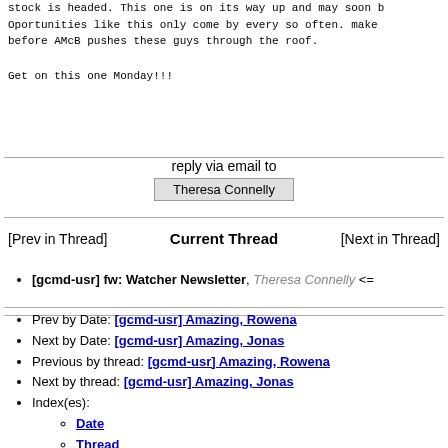stock is headed. This one is on its way up and may soon b Oportunities like this only come by every so often. make before AMcB pushes these guys through the roof.
Get on this one Monday!!!
reply via email to
Theresa Connelly
[Prev in Thread]    Current Thread    [Next in Thread]
[gcmd-usr] fw: Watcher Newsletter, Theresa Connelly <=
Prev by Date: [gcmd-usr] Amazing, Rowena
Next by Date: [gcmd-usr] Amazing, Jonas
Previous by thread: [gcmd-usr] Amazing, Rowena
Next by thread: [gcmd-usr] Amazing, Jonas
Index(es):
Date
Thread